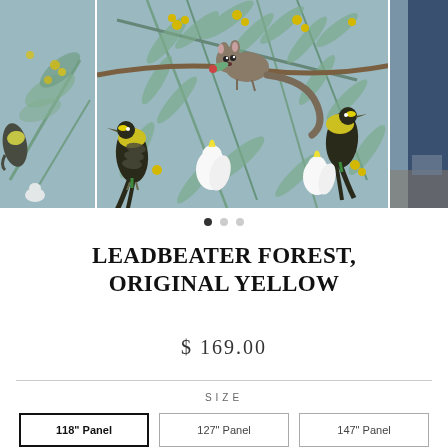[Figure (photo): Three-panel image carousel showing wallpaper pattern 'Leadbeater Forest, Original Yellow' — a blue-grey background with illustrated Australian wildlife including a possum on a branch, yellow-and-black birds (honeyeaters), white cockatoos, and wattle tree foliage with yellow flowers. Left and right panels show partial views; center panel is the main full view.]
LEADBEATER FOREST, ORIGINAL YELLOW
$ 169.00
SIZE
118" Panel
127" Panel
147" Panel